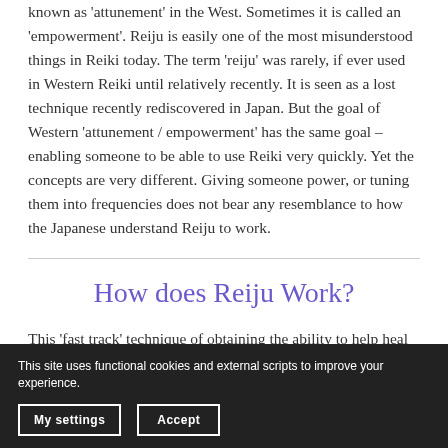known as 'attunement' in the West. Sometimes it is called an 'empowerment'. Reiju is easily one of the most misunderstood things in Reiki today. The term 'reiju' was rarely, if ever used in Western Reiki until relatively recently. It is seen as a lost technique recently rediscovered in Japan. But the goal of Western 'attunement / empowerment' has the same goal – enabling someone to be able to use Reiki very quickly. Yet the concepts are very different. Giving someone power, or tuning them into frequencies does not bear any resemblance to how the Japanese understand Reiju to work.
How does Reiju Work?
This 'fast track' technique of obtaining the ability to help heal people was created by Sensei Mikao Usui. He drew from ideas that already existed in Shinto. This is the original spirituality many years of spiritual practices. After his enlightenment, he
This site uses functional cookies and external scripts to improve your experience.